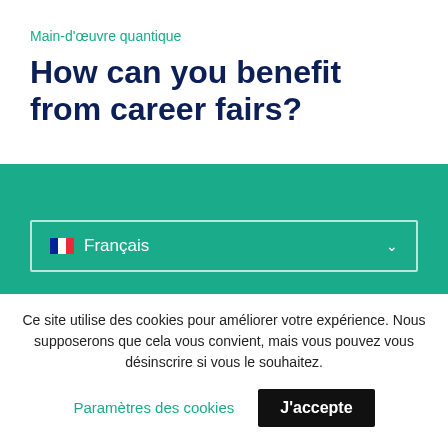Main-d'œuvre quantique
How can you benefit from career fairs?
[Figure (screenshot): Green teal section with language selector dropdown showing French flag and 'Français' text with chevron]
Ce site utilise des cookies pour améliorer votre expérience. Nous supposerons que cela vous convient, mais vous pouvez vous désinscrire si vous le souhaitez.
Paramètres des cookies  J'accepte